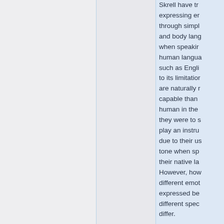Skrell have the skill of expressing emotions through simple gestures and body language even when speaking a human language, such as English, due to its limitations. Skrell are naturally more capable than any human in the arts if they were to sing or play an instrument, due to their use of tone when speaking their native language. However, how the different emotions are expressed between different species may differ.